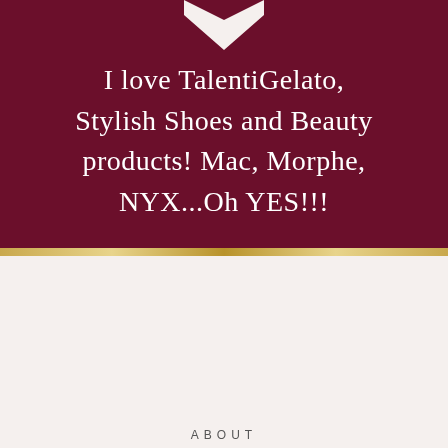[Figure (illustration): Dark crimson/maroon background top section with a white heart shape at the top center, and a gold/yellow horizontal bar separating the top and bottom sections.]
I love TalentiGelato, Stylish Shoes and Beauty products! Mac, Morphe, NYX...Oh YES!!!
ABOUT